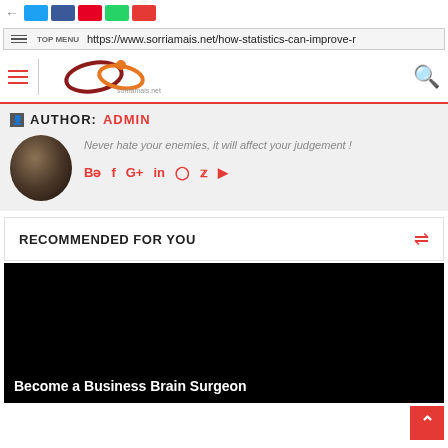TOP MENU https://www.sorriamais.net/how-statistics-can-improve-r
[Figure (screenshot): Website navigation bar with hamburger menu, logo, and search icon]
AUTHOR: ADMIN
Never hate your enemies, it will affect your judgement !
Social icons: Behance, Facebook, Google+, LinkedIn, Pinterest, Twitter, YouTube
RECOMMENDED FOR YOU
[Figure (photo): Dark promotional image with text 'Become a Business Brain Surgeon']